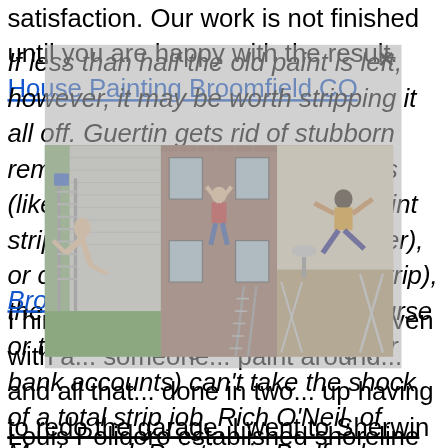satisfaction. Our work is not finished until you are happy with the result. House Painting Broomfield CO
If less than half the old paint is left, however, it may be worth stripping it all off. Guertin gets rid of stubborn remnants using shrouded grinders (like the PaintShaver), infrared paint strippers (such as the Speedheater), or chemical strippers (like Multi-Strip), then smooths the wood with a course or two of sanding. When siding (or bank accounts) can't take the shock of a total strip job, Rich O'Neil, of Masterwork Painting in Bedford, Massachusetts, has successfully hidden rough... [Broomfield...]
[Figure (photo): Three photos side by side: left shows a person doing gymnastics/parkour on a ladder against a house exterior with white siding; center shows someone hanging from a window of a brick house exterior; right shows a person leaping/flying indoors near exercise equipment.]
I hired... about $... about the... it even with a... someone... paint around... and all that... done in two... up having to redo the garage. I went to Sherwin Williams and got the colors... So beware even with a contract and good references. Broomfield House Painting
Louis Polidoro established shoreline in 1975. His son Christopher Polidore entered the company as President in